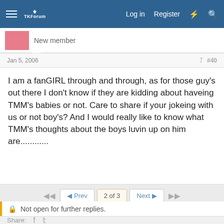Log in  Register
New member
Jan 5, 2006  #40
I am a fanGIRL through and through, as for those guy's out there I don't know if they are kidding about haveing TMM's babies or not. Care to share if your jokeing with us or not boy's? And I would really like to know what TMM's thoughts about the boys luvin up on him are............
2 of 3
Not open for further replies.
Share:
Fanclubs